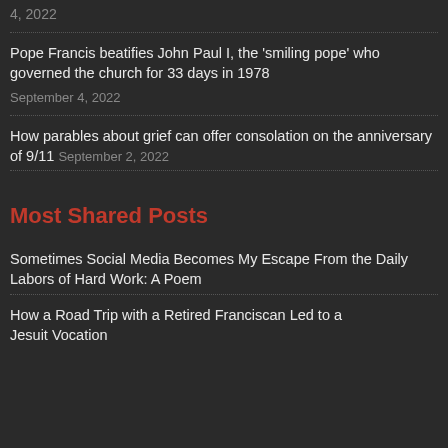4, 2022
Pope Francis beatifies John Paul I, the ‘smiling pope’ who governed the church for 33 days in 1978 September 4, 2022
How parables about grief can offer consolation on the anniversary of 9/11 September 2, 2022
Most Shared Posts
Sometimes Social Media Becomes My Escape From the Daily Labors of Hard Work: A Poem
How a Road Trip with a Retired Franciscan Led to a Jesuit Vocation